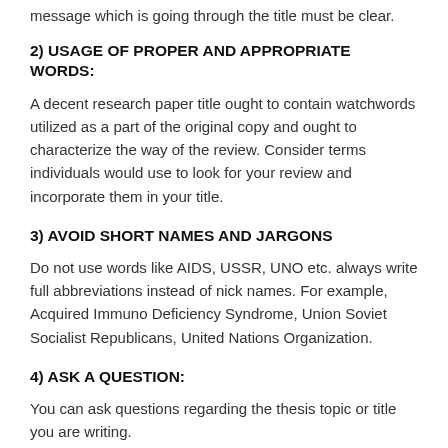message which is going through the title must be clear.
2) USAGE OF PROPER AND APPROPRIATE WORDS:
A decent research paper title ought to contain watchwords utilized as a part of the original copy and ought to characterize the way of the review. Consider terms individuals would use to look for your review and incorporate them in your title.
3) AVOID SHORT NAMES AND JARGONS
Do not use words like AIDS, USSR, UNO etc. always write full abbreviations instead of nick names. For example, Acquired Immuno Deficiency Syndrome, Union Soviet Socialist Republicans, United Nations Organization.
4) ASK A QUESTION:
You can ask questions regarding the thesis topic or title you are writing.